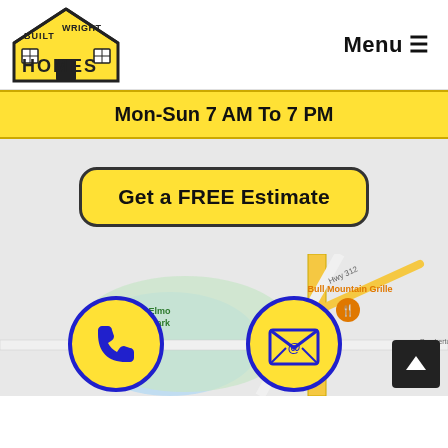[Figure (logo): Built Wright Homes logo — yellow house silhouette with bold text BUILT WRIGHT HOMES]
Menu ≡
Mon-Sun 7 AM To 7 PM
Get a FREE Estimate
[Figure (map): Google Maps view showing Lake Elmo State Park (green area), Bull Mountain Grille (orange label with fork/knife pin), Hwy 312, Bench Blvd, Lake Elmo Dr, Pemberton Ln, route 87 marker. Yellow road network visible.]
[Figure (illustration): Yellow circle with blue border containing a blue telephone handset icon]
[Figure (illustration): Yellow circle with blue border containing a blue envelope/email icon with @ symbol]
[Figure (illustration): Dark square button with white upward arrow (scroll to top)]